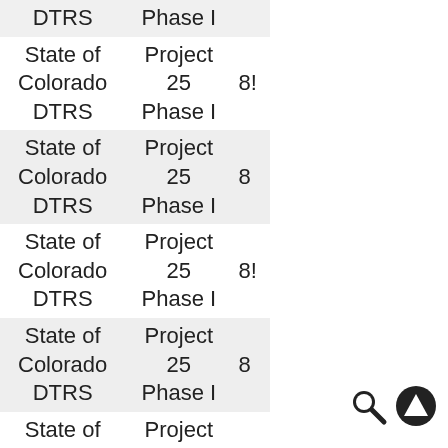|  |  |  |
| --- | --- | --- |
| DTRS | Phase I |  |
| State of Colorado DTRS | Project 25 Phase I | 85 |
| State of Colorado DTRS | Project 25 Phase I | 8 |
| State of Colorado DTRS | Project 25 Phase I | 85 |
| State of Colorado DTRS | Project 25 Phase I | 8 |
| State of Colorado DTRS | Project 25 Phase I | 85 |
| State of | Project |  |